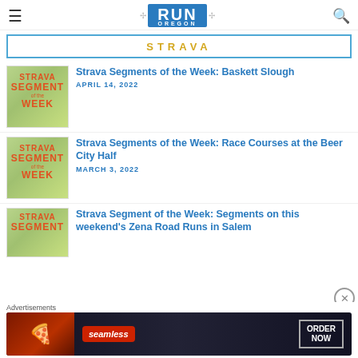Run Oregon
STRAVA
Strava Segments of the Week: Baskett Slough
APRIL 14, 2022
[Figure (photo): Strava Segment of the Week thumbnail image with map background]
Strava Segments of the Week: Race Courses at the Beer City Half
MARCH 3, 2022
[Figure (photo): Strava Segment of the Week thumbnail image with map background]
Strava Segment of the Week: Segments on this weekend's Zena Road Runs in Salem
[Figure (photo): Strava Segment of the Week thumbnail image with map background]
Advertisements
[Figure (photo): Seamless food delivery advertisement - ORDER NOW]